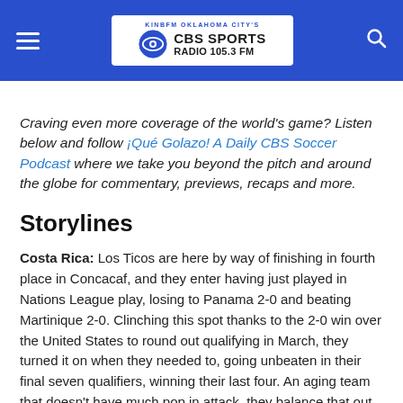KINBFM OKLAHOMA CITY'S CBS SPORTS RADIO 105.3FM
Craving even more coverage of the world's game? Listen below and follow ¡Qué Golazo! A Daily CBS Soccer Podcast where we take you beyond the pitch and around the globe for commentary, previews, recaps and more.
Storylines
Costa Rica: Los Ticos are here by way of finishing in fourth place in Concacaf, and they enter having just played in Nations League play, losing to Panama 2-0 and beating Martinique 2-0. Clinching this spot thanks to the 2-0 win over the United States to round out qualifying in March, they turned it on when they needed to, going unbeaten in their final seven qualifiers, winning their last four. An aging team that doesn't have much pop in attack, they balance that out by